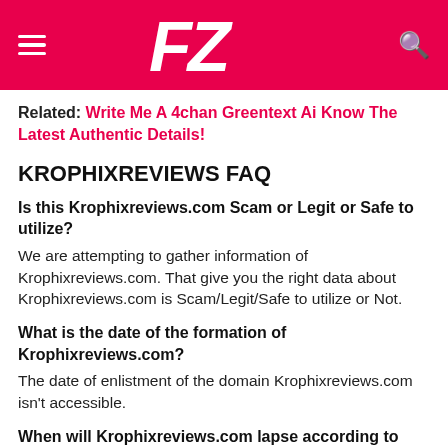FZ [logo with hamburger menu and search icon]
Related: Write Me A 4chan Greentext Ai Know The Latest Authentic Details!
KROPHIXREVIEWS FAQ
Is this Krophixreviews.com Scam or Legit or Safe to utilize?
We are attempting to gather information of Krophixreviews.com. That give you the right data about Krophixreviews.com is Scam/Legit/Safe to utilize or Not.
What is the date of the formation of Krophixreviews.com?
The date of enlistment of the domain Krophixreviews.com isn't accessible.
When will Krophixreviews.com lapse according to whois